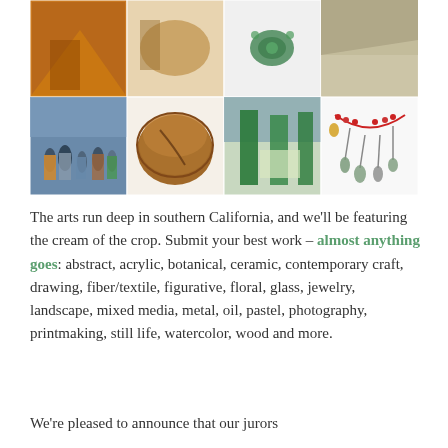[Figure (photo): A 2x4 grid collage of artwork photos: top row shows a painting of a wood/orange abstract piece, and a decorative green brooch/jewelry on white background; second row shows a colorful impressionistic crowd painting, a brown ceramic bowl, a painting of green architectural columns, and a silver/red necklace with charms.]
The arts run deep in southern California, and we'll be featuring the cream of the crop. Submit your best work – almost anything goes: abstract, acrylic, botanical, ceramic, contemporary craft, drawing, fiber/textile, figurative, floral, glass, jewelry, landscape, mixed media, metal, oil, pastel, photography, printmaking, still life, watercolor, wood and more.
We're pleased to announce that our jurors